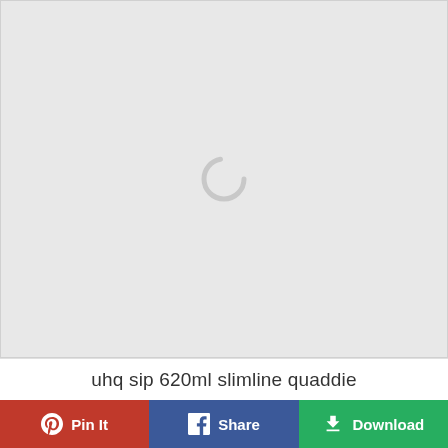[Figure (illustration): Loading spinner (circular arc) centered on a light gray background placeholder image area]
uhq sip 620ml slimline quaddie
Pin It
Share
Download